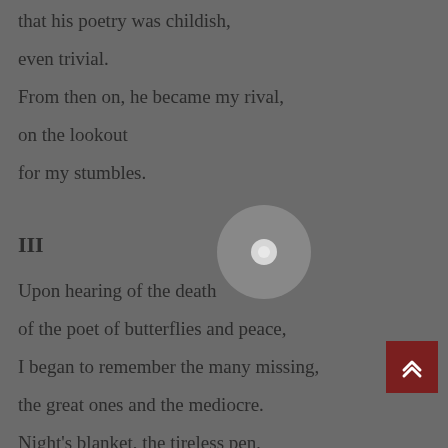that his poetry was childish,
even trivial.
From then on, he became my rival,
on the lookout
for my stumbles.
III
Upon hearing of the death
of the poet of butterflies and peace,
I began to remember the many missing,
the great ones and the mediocre.
Night's blanket, the tireless pen,
invoking memories--